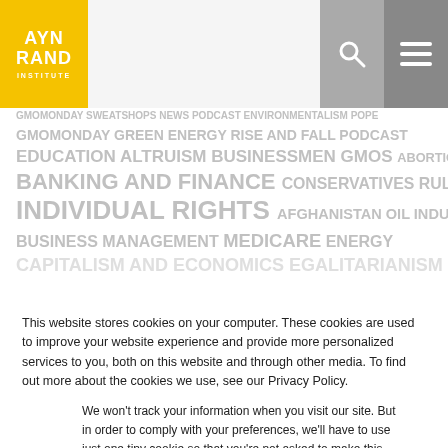AYN RAND INSTITUTE
[Figure (screenshot): Ayn Rand Institute website screenshot showing tag cloud with topics: GMOMONDAY GREEN ENERGY RISE AND FALL PODCAST EDUCATION ALTRUISM BUSINESSMEN GMOS abortion BANKING AND FINANCE CONSERVATIVES RULE OF LAW INDIVIDUAL RIGHTS AFGHANISTAN OIL INDUSTRY BUSINESS MANAGEMENT MEDICARE ENERGY CAPITALISM AND ECONOMICS EGALITARIANISM]
This website stores cookies on your computer. These cookies are used to improve your website experience and provide more personalized services to you, both on this website and through other media. To find out more about the cookies we use, see our Privacy Policy.
We won't track your information when you visit our site. But in order to comply with your preferences, we'll have to use just one tiny cookie so that you're not asked to make this choice again.